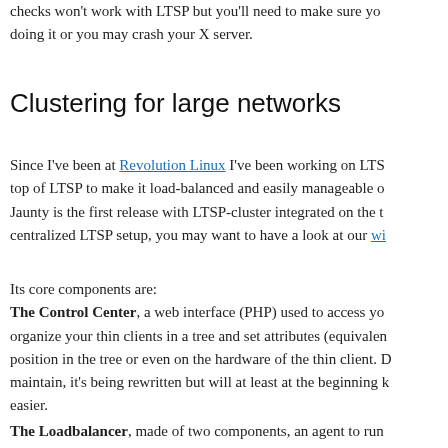checks won't work with LTSP but you'll need to make sure you doing it or you may crash your X server.
Clustering for large networks
Since I've been at Revolution Linux I've been working on LTSP, on top of LTSP to make it load-balanced and easily manageable on Jaunty is the first release with LTSP-cluster integrated on the th centralized LTSP setup, you may want to have a look at our wi
Its core components are:
The Control Center, a web interface (PHP) used to access you organize your thin clients in a tree and set attributes (equivalen position in the tree or even on the hardware of the thin client. D maintain, it's being rewritten but will at least at the beginning k easier.
The Loadbalancer, made of two components, an agent to run